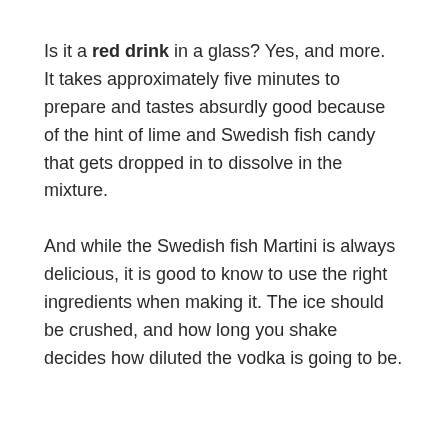Is it a red drink in a glass? Yes, and more. It takes approximately five minutes to prepare and tastes absurdly good because of the hint of lime and Swedish fish candy that gets dropped in to dissolve in the mixture.
And while the Swedish fish Martini is always delicious, it is good to know to use the right ingredients when making it. The ice should be crushed, and how long you shake decides how diluted the vodka is going to be.